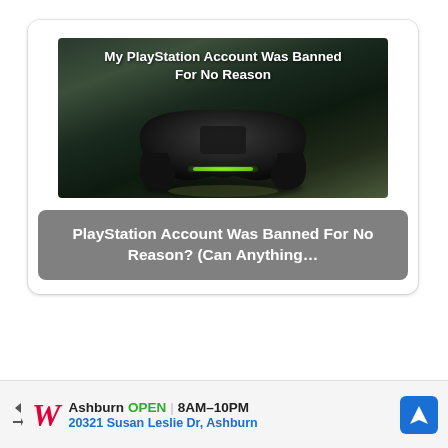[Figure (screenshot): Thumbnail image of a dark PS4 controller on a surface with a glowing green light bar, with text overlay reading 'My PlayStation Account Was Banned For No Reason']
PlayStation Account Was Banned For No Reason? (Can Anything…
[Figure (infographic): Advertisement banner: Walgreens store in Ashburn, OPEN 8AM-10PM, 20321 Susan Leslie Dr, Ashburn, with navigation arrow icon]